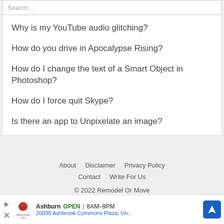Why is my YouTube audio glitching?
How do you drive in Apocalypse Rising?
How do I change the text of a Smart Object in Photoshop?
How do I force quit Skype?
Is there an app to Unpixelate an image?
About   Disclaimer   Privacy Policy
Contact   Write For Us
© 2022 Remodel Or Move
[Figure (screenshot): Advertisement banner: Smoothie King - Ashburn OPEN 8AM-9PM, 20035 Ashbrook Commons Plaza, Un.. with navigation icon]